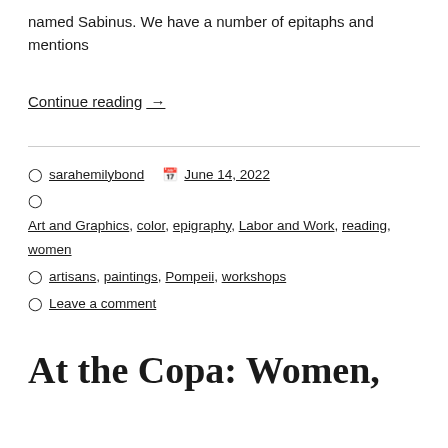named Sabinus. We have a number of epitaphs and mentions
Continue reading →
sarahemilybond   June 14, 2022
Art and Graphics, color, epigraphy, Labor and Work, reading, women
artisans, paintings, Pompeii, workshops
Leave a comment
At the Copa: Women,